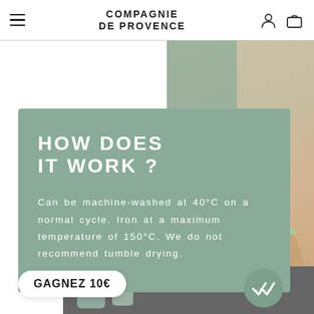COMPAGNIE DE PROVENCE
HOW DOES IT WORK ?
Can be machine-washed at 40°C on a normal cycle. Iron at a maximum temperature of 150°C. We do not recommend tumble drying.
[Figure (photo): Hand holding green product bottles, with a sage green infographic card overlay and a white rounded pill banner reading GAGNEZ 10€]
GAGNEZ 10€